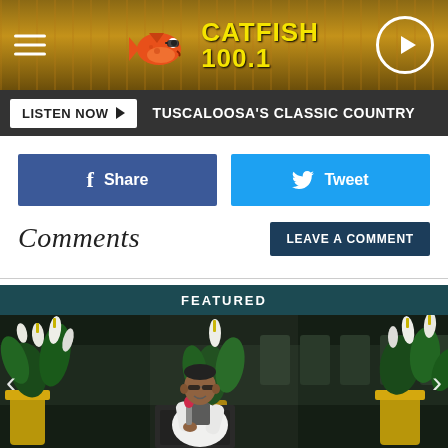[Figure (screenshot): Catfish 100.1 radio station header banner with logo, hamburger menu icon, and play button]
LISTEN NOW ▶  TUSCALOOSA'S CLASSIC COUNTRY
[Figure (screenshot): Facebook Share button (blue) and Twitter Tweet button (light blue) social sharing row]
Comments
LEAVE A COMMENT
FEATURED
[Figure (photo): A man in a white jacket speaking into a microphone at a podium, surrounded by large white tropical flowers and green plants in gold vases, inside a venue with chairs in the background]